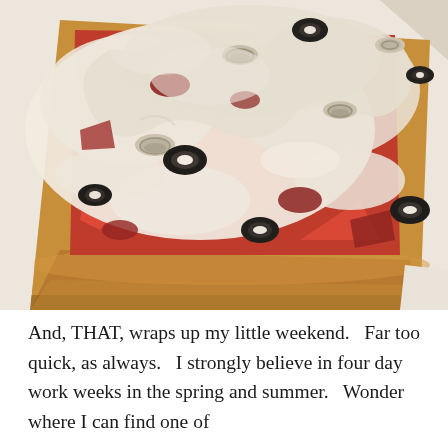[Figure (photo): Close-up photograph of a square pizza with melted white cheese, black olives, mushrooms, and red tomato sauce on a thick crust, placed on white parchment paper.]
And, THAT, wraps up my little weekend.   Far too quick, as always.   I strongly believe in four day work weeks in the spring and summer.   Wonder where I can find one of